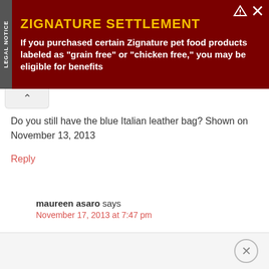[Figure (other): Advertisement banner for Zignature Settlement with dark red background. Heading: 'ZIGNATURE SETTLEMENT'. Body: 'If you purchased certain Zignature pet food products labeled as "grain free" or "chicken free," you may be eligible for benefits']
Do you still have the blue Italian leather bag? Shown on November 13, 2013
Reply
maureen asaro says
November 17, 2013 at 7:47 pm
Can I still purchase these leather bags.
Reply